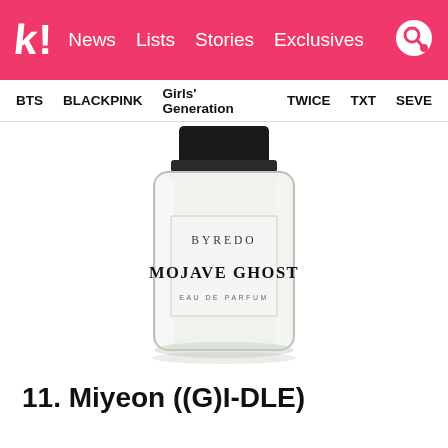k! News Lists Stories Exclusives
BTS BLACKPINK Girls' Generation TWICE TXT SEVE
[Figure (photo): Byredo Mojave Ghost Eau de Parfum bottle — a cylindrical clear glass bottle with a black rectangular cap, white label reading BYREDO / MOJAVE GHOST / EAU DE PARFUM]
11. Miyeon ((G)I-DLE)